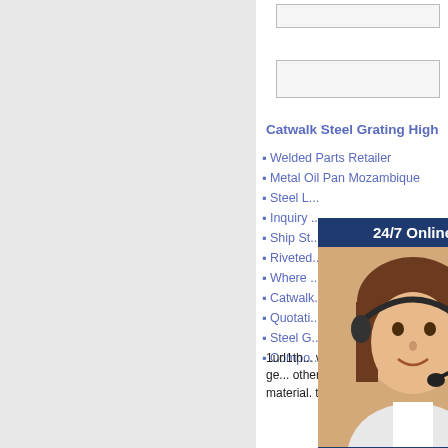[Figure (screenshot): Left gray panel of a website layout]
[Figure (screenshot): Two input/search boxes at top of right sidebar]
Catwalk Steel Grating High
Welded Parts Retailer
Metal Oil Pan Mozambique
Steel L...
Inquiry ...
Ship St...
Riveted...
Where ...
Catwalk...
Quotati...
Steel G...
Compo...
[Figure (photo): 24/7 Online customer service chat widget with a woman wearing a headset, dark navy background header saying '24/7 Online', and buttons for 'Have any requests, click here.' and 'Quotation']
1url1th... was behind panel floor ge... otherwise allows shapes fa... material. to allow access f...